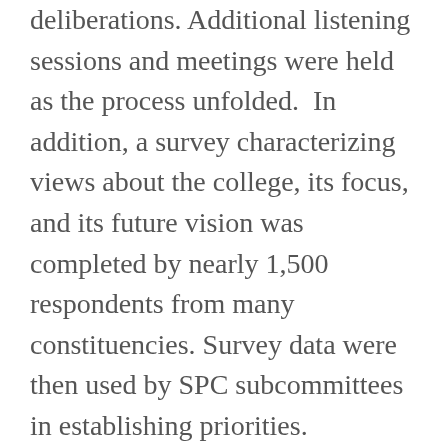deliberations. Additional listening sessions and meetings were held as the process unfolded.  In addition, a survey characterizing views about the college, its focus, and its future vision was completed by nearly 1,500 respondents from many constituencies. Survey data were then used by SPC subcommittees in establishing priorities.
Recognized Opportunities and Challenges:
Subcommittee and SPC deliberations were thoughtful and raised questions regarding resources, expectations and approaches to underwriting priorities [e.g., return on investment (ROI), public-private partnership support, collaboration (rather than